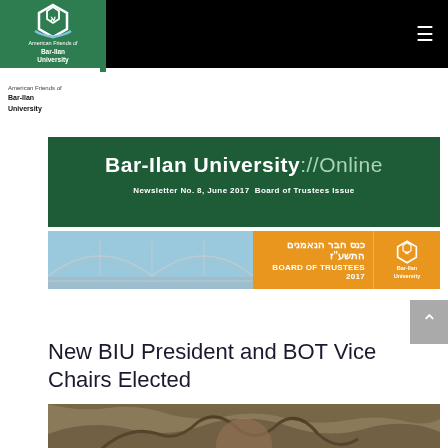[Figure (logo): American Friends of Bar-Ilan University green logo with Hebrew letter-like symbol, white text on green background, set in black navigation bar with hamburger menu icon]
[Figure (photo): Bar-Ilan University Online newsletter banner - dark green background with bold white text reading Bar-Ilan University://Online and subtitle Newsletter No. 8, June 2017 Board of Trustees Issue]
[Figure (photo): Board of Trustees 2017 banner - shows bridge architecture on light blue background, orange section with Hebrew text and BOARD OF TRUSTEES 2017, Bar-Ilan University logo]
New BIU President and BOT Vice Chairs Elected
[Figure (photo): Bottom portion of outdoor photo showing tree branches and what appears to be top of a person's head]